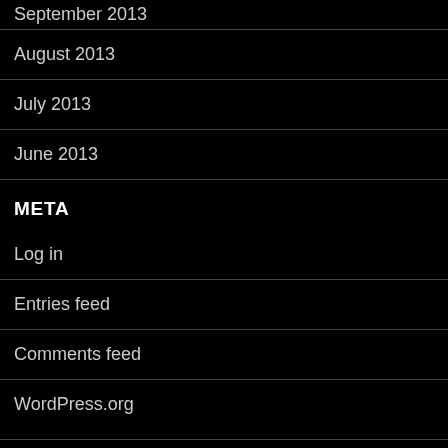September 2013
August 2013
July 2013
June 2013
META
Log in
Entries feed
Comments feed
WordPress.org